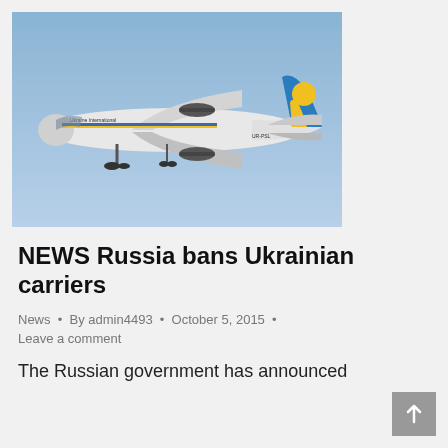[Figure (photo): A Ukraine International Airlines Boeing 737 in flight against a blue sky background. The aircraft is white with blue and yellow livery on the tail. Text on fuselage reads 'Ukraine International'.]
NEWS Russia bans Ukrainian carriers
News • By admin4493 • October 5, 2015 • Leave a comment
The Russian government has announced